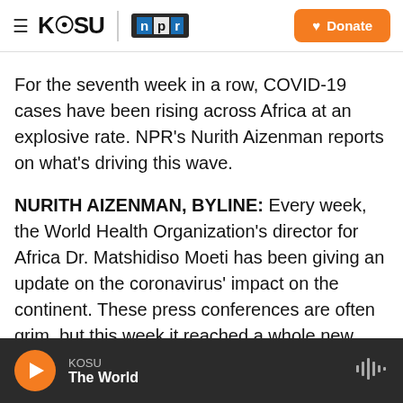KOSU | NPR — Donate
For the seventh week in a row, COVID-19 cases have been rising across Africa at an explosive rate. NPR's Nurith Aizenman reports on what's driving this wave.
NURITH AIZENMAN, BYLINE: Every week, the World Health Organization's director for Africa Dr. Matshidiso Moeti has been giving an update on the coronavirus' impact on the continent. These press conferences are often grim, but this week it reached a whole new level.
KOSU — The World